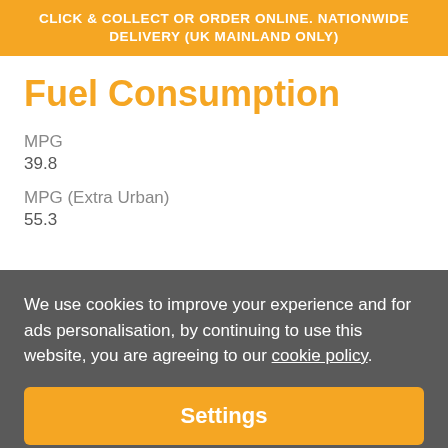CLICK & COLLECT OR ORDER ONLINE. NATIONWIDE DELIVERY (UK MAINLAND ONLY)
Fuel Consumption
MPG
39.8
MPG (Extra Urban)
55.3
We use cookies to improve your experience and for ads personalisation, by continuing to use this website, you are agreeing to our cookie policy.
Settings
Accept all